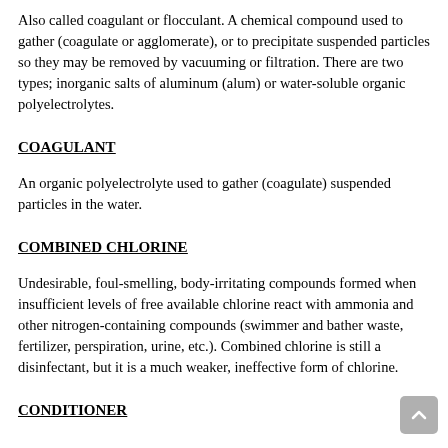Also called coagulant or flocculant. A chemical compound used to gather (coagulate or agglomerate), or to precipitate suspended particles so they may be removed by vacuuming or filtration. There are two types; inorganic salts of aluminum (alum) or water-soluble organic polyelectrolytes.
COAGULANT
An organic polyelectrolyte used to gather (coagulate) suspended particles in the water.
COMBINED CHLORINE
Undesirable, foul-smelling, body-irritating compounds formed when insufficient levels of free available chlorine react with ammonia and other nitrogen-containing compounds (swimmer and bather waste, fertilizer, perspiration, urine, etc.). Combined chlorine is still a disinfectant, but it is a much weaker, ineffective form of chlorine.
CONDITIONER